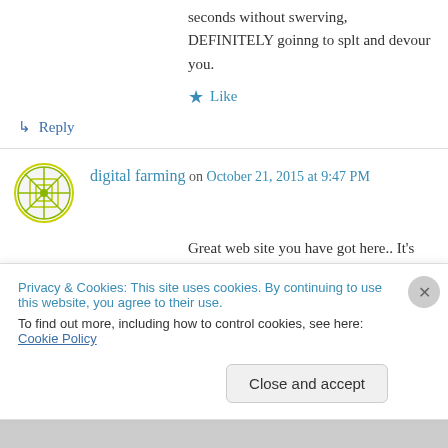seconds without swerving, DEFINITELY goinng to splt and devour you.
Like
↳ Reply
digital farming on October 21, 2015 at 9:47 PM
Great web site you have got here.. It's hard to find good quality writing like yours nowadays. I really appreciate people like you! Take care!!
Privacy & Cookies: This site uses cookies. By continuing to use this website, you agree to their use.
To find out more, including how to control cookies, see here: Cookie Policy
Close and accept